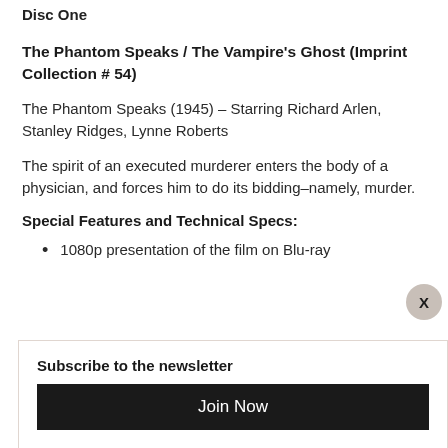Disc One
The Phantom Speaks / The Vampire's Ghost (Imprint Collection # 54)
The Phantom Speaks (1945) – Starring Richard Arlen, Stanley Ridges, Lynne Roberts
The spirit of an executed murderer enters the body of a physician, and forces him to do its bidding–namely, murder.
Special Features and Technical Specs:
1080p presentation of the film on Blu-ray
Subscribe to the newsletter
Join Now